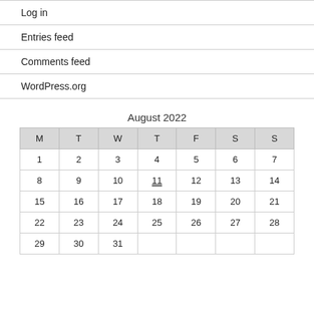Log in
Entries feed
Comments feed
WordPress.org
August 2022
| M | T | W | T | F | S | S |
| --- | --- | --- | --- | --- | --- | --- |
| 1 | 2 | 3 | 4 | 5 | 6 | 7 |
| 8 | 9 | 10 | 11 | 12 | 13 | 14 |
| 15 | 16 | 17 | 18 | 19 | 20 | 21 |
| 22 | 23 | 24 | 25 | 26 | 27 | 28 |
| 29 | 30 | 31 |  |  |  |  |